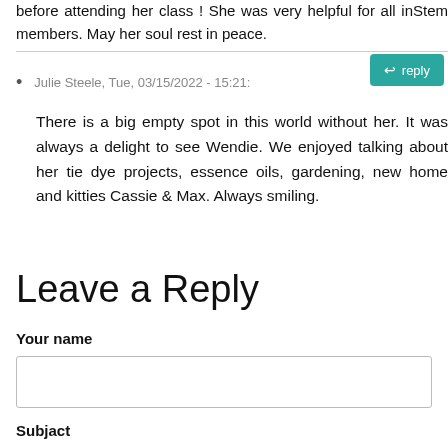before attending her class ! She was very helpful for all inStem members. May her soul rest in peace.
Julie Steele, Tue, 03/15/2022 - 15:21:
There is a big empty spot in this world without her. It was always a delight to see Wendie. We enjoyed talking about her tie dye projects, essence oils, gardening, new home and kitties Cassie & Max. Always smiling.
Leave a Reply
Your name